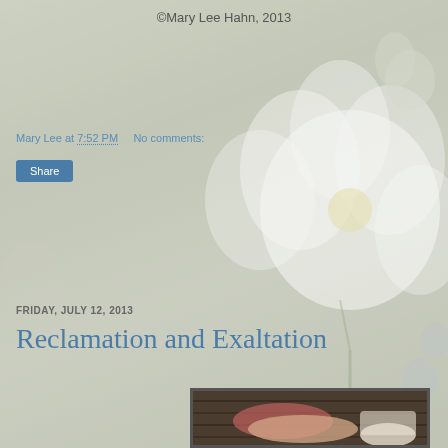©Mary Lee Hahn, 2013
Mary Lee at 7:52 PM    No comments:
Share
FRIDAY, JULY 12, 2013
Reclamation and Exaltation
[Figure (photo): Garden gloves (pink and beige) lying on wooden planks beside a cup with coffee/tea residue, viewed from above]